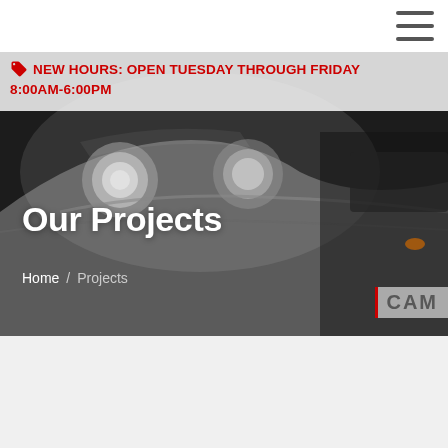🏷 NEW HOURS: OPEN TUESDAY THROUGH FRIDAY 8:00AM-6:00PM
[Figure (photo): Hero banner image showing close-up of a classic BMW car headlights and front end, dark moody automotive photography with a CAM logo watermark in the bottom right corner]
Our Projects
Home / Projects